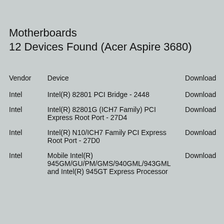Motherboards
12 Devices Found (Acer Aspire 3680)
| Vendor | Device | Download |
| --- | --- | --- |
| Intel | Intel(R) 82801 PCI Bridge - 2448 | Download |
| Intel | Intel(R) 82801G (ICH7 Family) PCI Express Root Port - 27D4 | Download |
| Intel | Intel(R) N10/ICH7 Family PCI Express Root Port - 27D0 | Download |
| Intel | Mobile Intel(R) 945GM/GU/PM/GMS/940GML/943GML and Intel(R) 945GT Express Processor | Download |